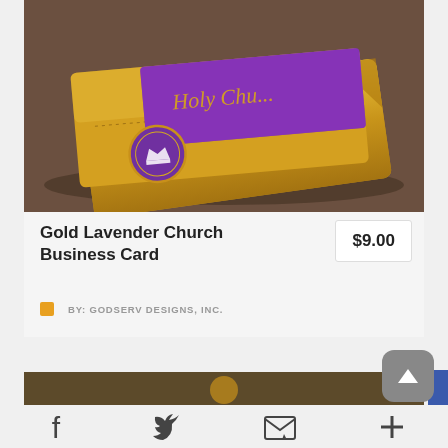[Figure (photo): Gold and purple church business cards stacked, showing ornate gold card with purple accent card featuring 'Holy Church' text in gold script and a purple circular emblem with a crown/church logo]
Gold Lavender Church Business Card
$9.00
BY: GODSERV DESIGNS, INC.
[Figure (other): Partial view of another product card at bottom of page]
Social share icons: Facebook, Twitter, Email, More